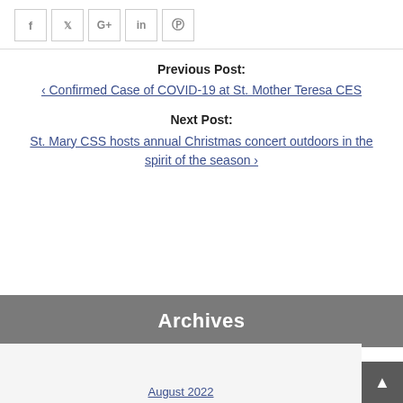[Figure (other): Social media share buttons: Facebook (f), Twitter (bird), Google+ (G+), LinkedIn (in), Pinterest (p)]
Previous Post:
‹ Confirmed Case of COVID-19 at St. Mother Teresa CES
Next Post:
St. Mary CSS hosts annual Christmas concert outdoors in the spirit of the season ›
Archives
August 2022